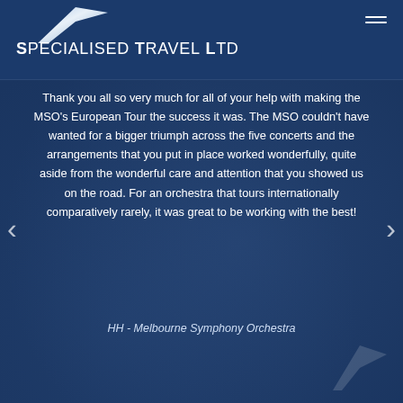Specialised Travel Ltd
Thank you all so very much for all of your help with making the MSO’s European Tour the success it was. The MSO couldn’t have wanted for a bigger triumph across the five concerts and the arrangements that you put in place worked wonderfully, quite aside from the wonderful care and attention that you showed us on the road. For an orchestra that tours internationally comparatively rarely, it was great to be working with the best!
HH - Melbourne Symphony Orchestra